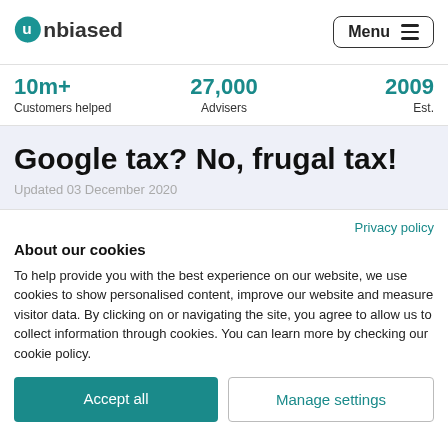unbiased | Menu
10m+ Customers helped | 27,000 Advisers | 2009 Est.
Google tax? No, frugal tax!
Updated 03 December 2020
Privacy policy
About our cookies
To help provide you with the best experience on our website, we use cookies to show personalised content, improve our website and measure visitor data. By clicking on or navigating the site, you agree to allow us to collect information through cookies. You can learn more by checking our cookie policy.
Accept all | Manage settings